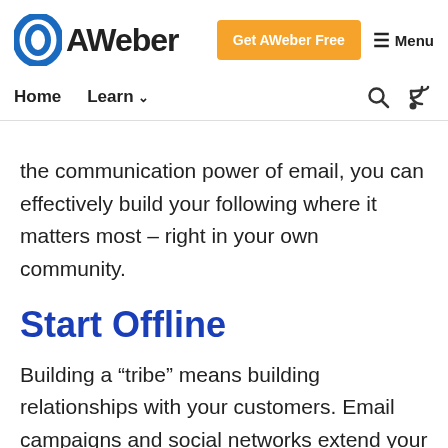AWeber — Get AWeber Free | Menu
Home | Learn
the communication power of email, you can effectively build your following where it matters most – right in your own community.
Start Offline
Building a “tribe” means building relationships with your customers. Email campaigns and social networks extend your reach to locals who